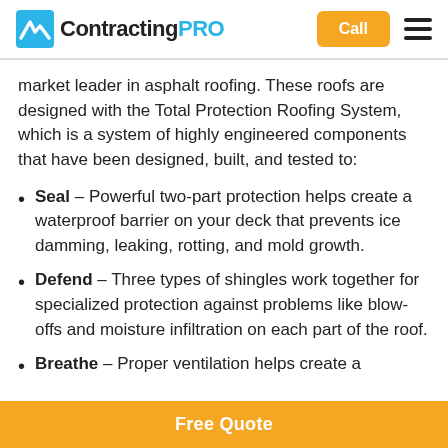ContractingPRO | Call | Menu
market leader in asphalt roofing. These roofs are designed with the Total Protection Roofing System, which is a system of highly engineered components that have been designed, built, and tested to:
Seal – Powerful two-part protection helps create a waterproof barrier on your deck that prevents ice damming, leaking, rotting, and mold growth.
Defend – Three types of shingles work together for specialized protection against problems like blow-offs and moisture infiltration on each part of the roof.
Breathe – Proper ventilation helps create a
Free Quote